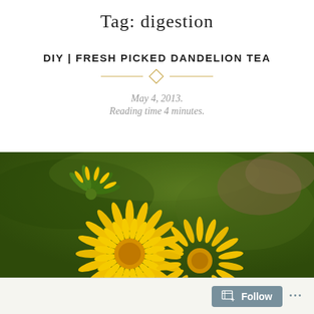Tag: digestion
DIY | FRESH PICKED DANDELION TEA
May 4, 2013.
Reading time 4 minutes.
[Figure (photo): Close-up photo of bright yellow dandelion flowers on a green grass background]
Follow ...